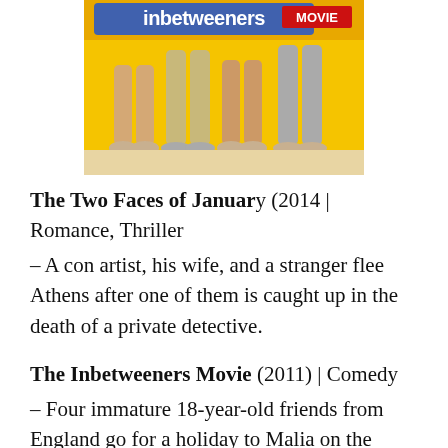[Figure (photo): Movie poster image for The Inbetweeners Movie showing legs of four people standing on a beach, with a yellow background and the text 'inbetweeners MOVIE' visible at the top.]
The Two Faces of January (2014 | Romance, Thriller – A con artist, his wife, and a stranger flee Athens after one of them is caught up in the death of a private detective.
The Inbetweeners Movie (2011) | Comedy – Four immature 18-year-old friends from England go for a holiday to Malia on the island of Crete,